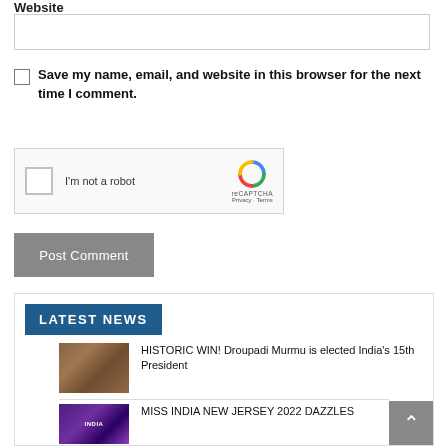Website
Save my name, email, and website in this browser for the next time I comment.
[Figure (screenshot): reCAPTCHA widget with checkbox and logo]
Post Comment
LATEST NEWS
HISTORIC WIN! Droupadi Murmu is elected India's 15th President
MISS INDIA NEW JERSEY 2022 DAZZLES